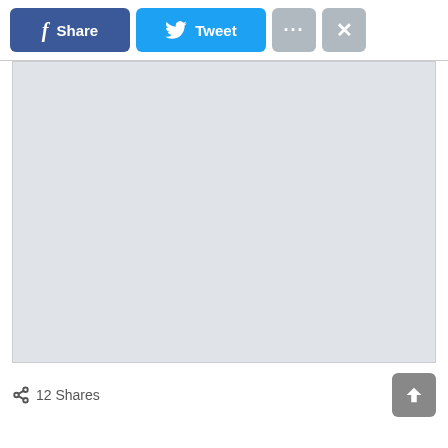[Figure (screenshot): Social sharing toolbar with Facebook Share button (blue), Twitter Tweet button (light blue), a more options button (gray with ellipsis), and a close button (gray with X). Below is a large light gray content area. At the bottom is a share count showing 12 Shares and a scroll-up button.]
12 Shares